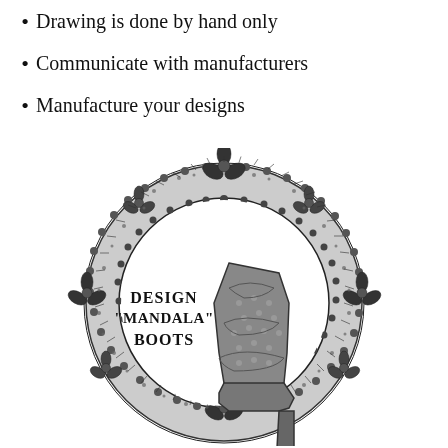Drawing is done by hand only
Communicate with manufacturers
Manufacture your designs
[Figure (illustration): Circular mandala-style decorative wreath with intricate lace and floral pattern surrounding a high-heel boot covered in mandala designs. Text inside reads DESIGN "MANDALA" BOOTS.]